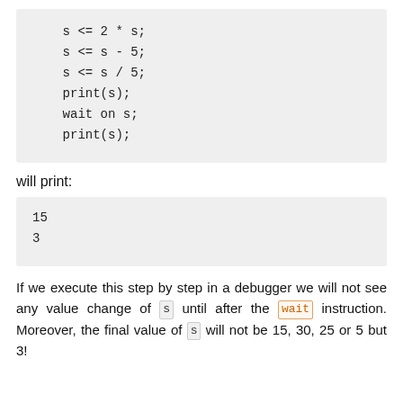s <= 2 * s;
    s <= s - 5;
    s <= s / 5;
    print(s);
    wait on s;
    print(s);
will print:
15
3
If we execute this step by step in a debugger we will not see any value change of s until after the wait instruction. Moreover, the final value of s will not be 15, 30, 25 or 5 but 3!